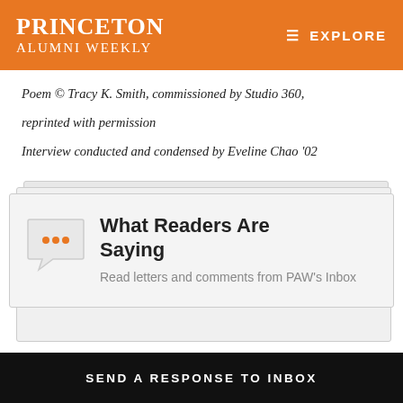PRINCETON ALUMNI WEEKLY  EXPLORE
Poem © Tracy K. Smith, commissioned by Studio 360, reprinted with permission
Interview conducted and condensed by Eveline Chao '02
[Figure (illustration): Stacked card UI element with chat bubble icon showing three dots, titled 'What Readers Are Saying' with subtitle 'Read letters and comments from PAW's Inbox']
SEND A RESPONSE TO INBOX